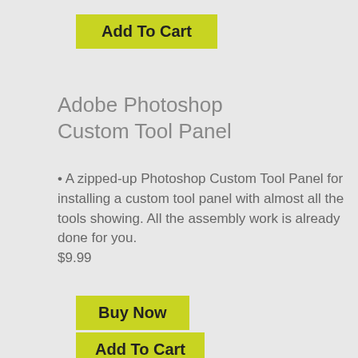Add To Cart
Adobe Photoshop Custom Tool Panel
A zipped-up Photoshop Custom Tool Panel for installing a custom tool panel with almost all the tools showing. All the assembly work is already done for you. $9.99
Buy Now
Add To Cart
[Figure (screenshot): Adobe Photoshop Custom Tool Panel screenshot showing a vertical panel with two columns of tool icons including move, crop, selection, brush, eraser, and other tools]